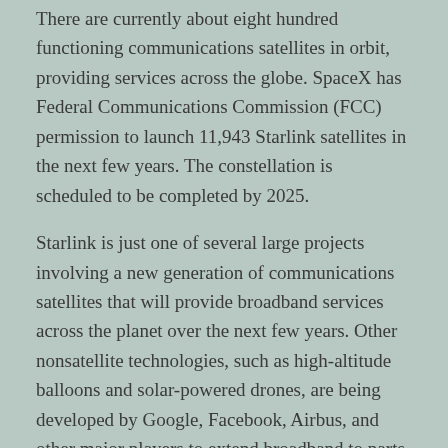There are currently about eight hundred functioning communications satellites in orbit, providing services across the globe. SpaceX has Federal Communications Commission (FCC) permission to launch 11,943 Starlink satellites in the next few years. The constellation is scheduled to be completed by 2025.
Starlink is just one of several large projects involving a new generation of communications satellites that will provide broadband services across the planet over the next few years. Other nonsatellite technologies, such as high-altitude balloons and solar-powered drones, are being developed by Google, Facebook, Airbus, and other major players to extend broadband to parts of the planet currently unreached by the internet.
In the twenty-five years since the World Wide Web